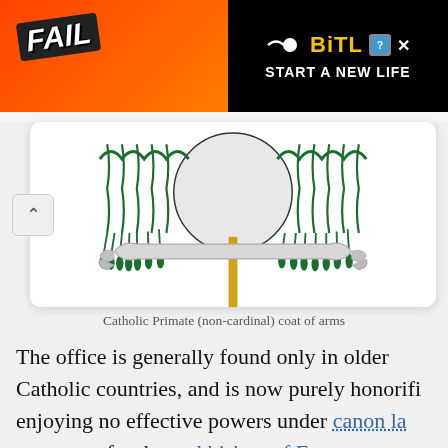[Figure (illustration): BitLife advertisement banner with FAIL text, cartoon character, and fire background with black panel showing BitLife logo and 'START A NEW LIFE' tagline]
[Figure (illustration): Catholic Primate (non-cardinal) coat of arms showing green tassels, white roundel/hat shape, golden cross/staff, and a scroll/ribbon banner]
Catholic Primate (non-cardinal) coat of arms
The office is generally found only in older Catholic countries, and is now purely honorific, enjoying no effective powers under canon law — except for the archbishop of Esztergom